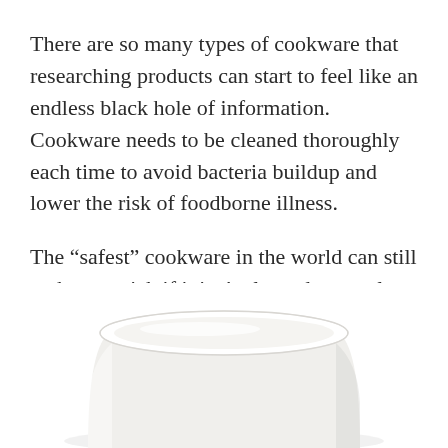There are so many types of cookware that researching products can start to feel like an endless black hole of information. Cookware needs to be cleaned thoroughly each time to avoid bacteria buildup and lower the risk of foodborne illness.
The “safest” cookware in the world can still make you sick if it isn’t cleaned correctly. You can reduce wear and tear on your cookware to help it last a little longer by pairing it with the right cooking utensils.
[Figure (photo): Bottom portion of a white ceramic cookware item (pot or pan) photographed from a slightly elevated angle on a white background, showing the flat top rim and rounded side.]